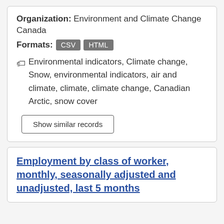Organization: Environment and Climate Change Canada
Formats: CSV HTML
Environmental indicators, Climate change, Snow, environmental indicators, air and climate, climate, climate change, Canadian Arctic, snow cover
Show similar records
Employment by class of worker, monthly, seasonally adjusted and unadjusted, last 5 months